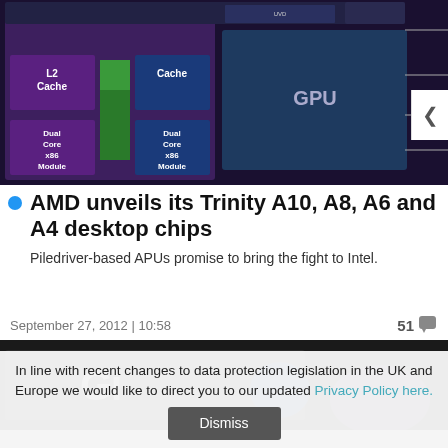[Figure (engineering-diagram): AMD chip architecture diagram showing L2 Cache, Dual Core x86 Module blocks, GPU, and labeled connectors to AMD components including HD Media Accelerator, Unified Northbridge, AMD Radeon GPU, and HDMI/DisplayPort controllers on a dark background.]
AMD unveils its Trinity A10, A8, A6 and A4 desktop chips
Piledriver-based APUs promise to bring the fight to Intel.
September 27, 2012 | 10:58
51
[Figure (photo): Close-up photo of a Gigabyte product label/box in dark tones with blue and purple accents.]
In line with recent changes to data protection legislation in the UK and Europe we would like to direct you to our updated Privacy Policy here.
Dismiss